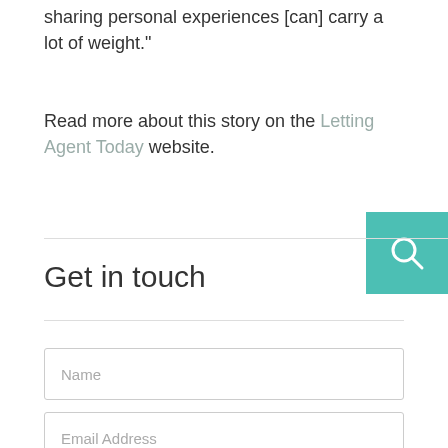sharing personal experiences [can] carry a lot of weight."
Read more about this story on the Letting Agent Today website.
Get in touch
Name
Email Address
Phone Number